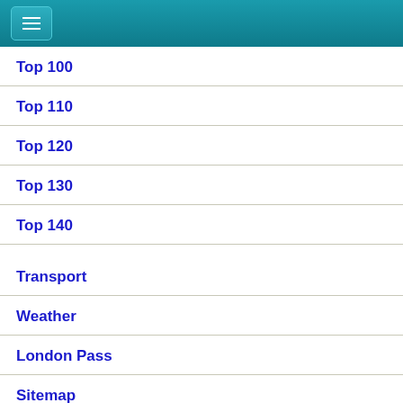Navigation menu header bar with hamburger icon
Top 100
Top 110
Top 120
Top 130
Top 140
Transport
Weather
London Pass
Sitemap